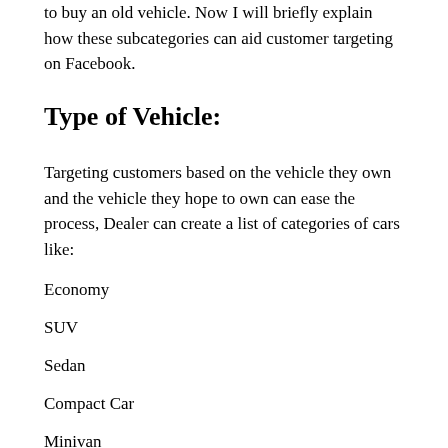to buy an old vehicle. Now I will briefly explain how these subcategories can aid customer targeting on Facebook.
Type of Vehicle:
Targeting customers based on the vehicle they own and the vehicle they hope to own can ease the process, Dealer can create a list of categories of cars like:
Economy
SUV
Sedan
Compact Car
Minivan
Pickup